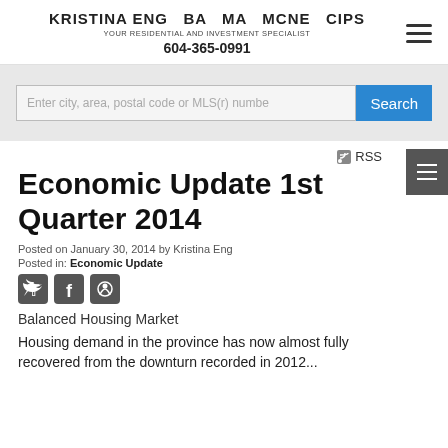KRISTINA ENG  BA  MA  MCNE  CIPS
YOUR RESIDENTIAL AND INVESTMENT SPECIALIST
604-365-0991
[Figure (screenshot): Search bar with placeholder text 'Enter city, area, postal code or MLS(r) number' and a blue 'Search' button]
Economic Update 1st Quarter 2014
Posted on January 30, 2014 by Kristina Eng
Posted in: Economic Update
[Figure (illustration): Social media icons: Twitter, Facebook, Pinterest]
Balanced Housing Market
Housing demand in the province has now almost fully recovered from the downturn recorded in 2012...